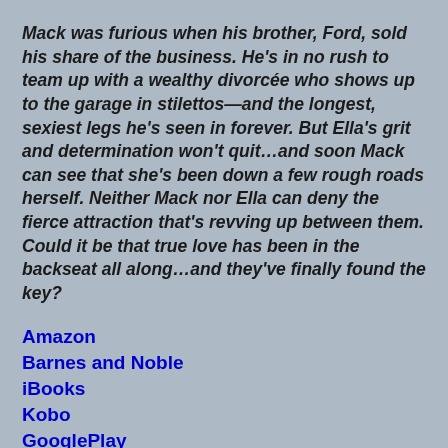Mack was furious when his brother, Ford, sold his share of the business. He's in no rush to team up with a wealthy divorcée who shows up to the garage in stilettos—and the longest, sexiest legs he's seen in forever. But Ella's grit and determination won't quit…and soon Mack can see that she's been down a few rough roads herself. Neither Mack nor Ella can deny the fierce attraction that's revving up between them. Could it be that true love has been in the backseat all along…and they've finally found the key?
Amazon
Barnes and Noble
iBooks
Kobo
GooglePlay
Goodreads